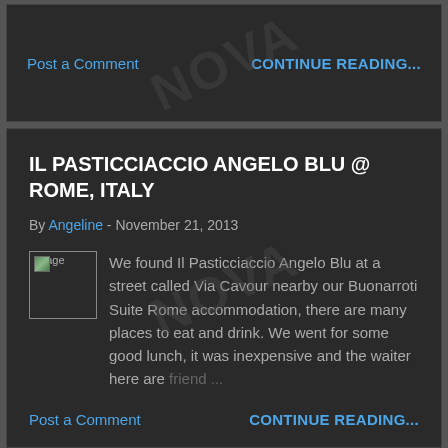Post a Comment    CONTINUE READING...
IL PASTICCIACCIO ANGELO BLU @ ROME, ITALY
By Angeline - November 21, 2013
We found Il Pasticciaccio Angelo Blu at a street called Via Cavour nearby our Buonarroti Suite Rome accommodation, there are many places to eat and drink. We went for some good lunch, it was inexpensive and the waiter here are friend...
Post a Comment    CONTINUE READING...